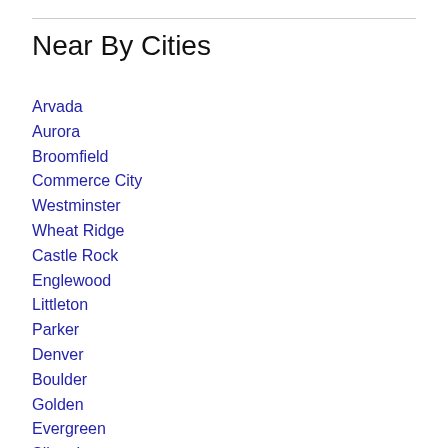Near By Cities
Arvada
Aurora
Broomfield
Commerce City
Westminster
Wheat Ridge
Castle Rock
Englewood
Littleton
Parker
Denver
Boulder
Golden
Evergreen
Silverthorne
Longmont
Estes Park
Dacono
Firestone